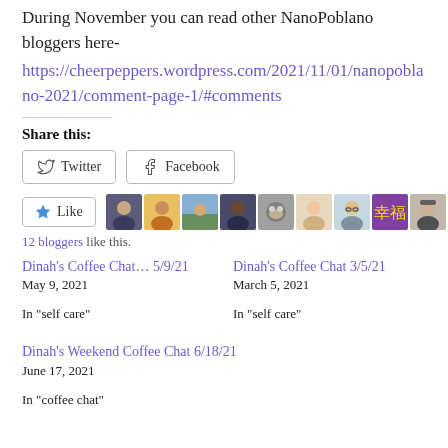During November you can read other NanoPoblano bloggers here-
https://cheerpeppers.wordpress.com/2021/11/01/nanopoblano-2021/comment-page-1/#comments
Share this:
Twitter  Facebook
[Figure (other): Like button with star icon and 10 blogger avatars]
12 bloggers like this.
Dinah's Coffee Chat… 5/9/21
May 9, 2021
In "self care"
Dinah's Coffee Chat 3/5/21
March 5, 2021
In "self care"
Dinah's Weekend Coffee Chat 6/18/21
June 17, 2021
In "coffee chat"